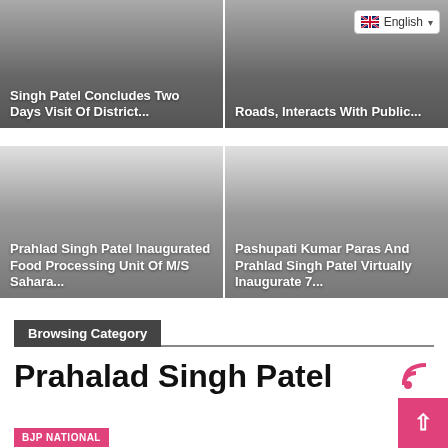[Figure (screenshot): News card: Singh Patel Concludes Two Days Visit Of District...]
[Figure (screenshot): News card with English language selector: text partially visible, Interacts With Public...]
[Figure (screenshot): News card: Prahlad Singh Patel Inaugurated Food Processing Unit Of M/S Sahara...]
[Figure (screenshot): News card: Pashupati Kumar Paras And Prahlad Singh Patel Virtually Inaugurate 7...]
Browsing Category
Prahalad Singh Patel
BJP NATIONAL